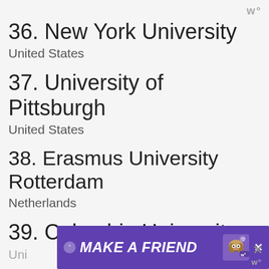w°
36. New York University
United States
37. University of Pittsburgh
United States
38. Erasmus University Rotterdam
Netherlands
39. Columbia University
United States
[Figure (other): Advertisement banner reading MAKE A FRIEND with a dog image and close button]
w°